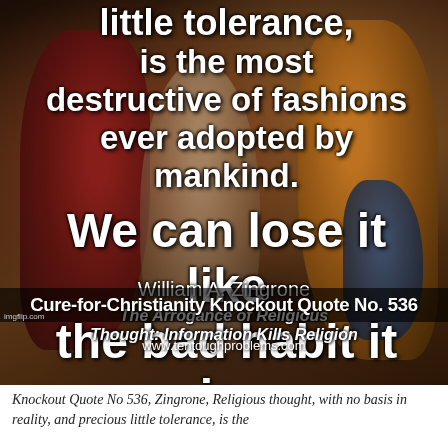[Figure (illustration): A painting-style image of classical/biblical figures with draped robes (red, gold, blue) against a dark background, overlaid with white bold text forming a quote.]
little tolerance, is the most destructive of fashions ever adopted by mankind. We can lose it like the bad habit it is.
William A. Zingrone
The Arrogance of Religious Thought: Information Kills Religion
www.tentoughproblems.com
Cure-for-Christianity Knockout Quote No. 536
Knockout Quote No 536, Zingrone, Religious thought, with no basis in reality, and precious little tolerance, is the